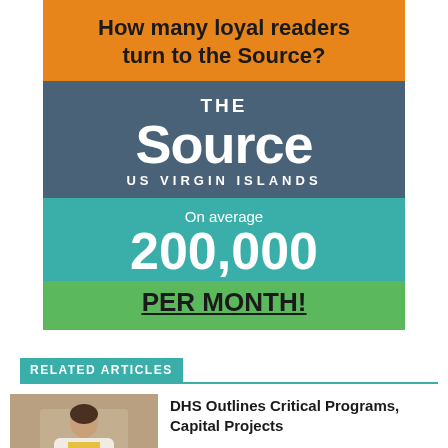[Figure (infographic): The Source US Virgin Islands advertisement: orange banner asking 'How many loyal readers turn to the Source?', blue section with 'THE Source US VIRGIN ISLANDS' logo, teal section with 'On average 200,000', green section with 'PER MONTH!']
RELATED ARTICLES
[Figure (photo): Photo of a woman in a white jacket at what appears to be a government hearing, with 'Local government' label overlay]
DHS Outlines Critical Programs, Capital Projects
[Figure (photo): Aerial/landscape photo with blue sky, partial view]
Magens Bay Board Cracks Down on Overzealous Cashiers